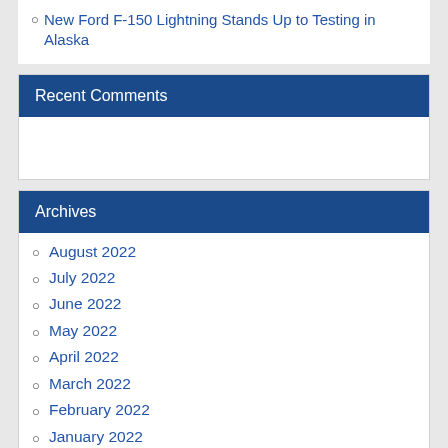New Ford F-150 Lightning Stands Up to Testing in Alaska
Recent Comments
Archives
August 2022
July 2022
June 2022
May 2022
April 2022
March 2022
February 2022
January 2022
December 2021
November 2021